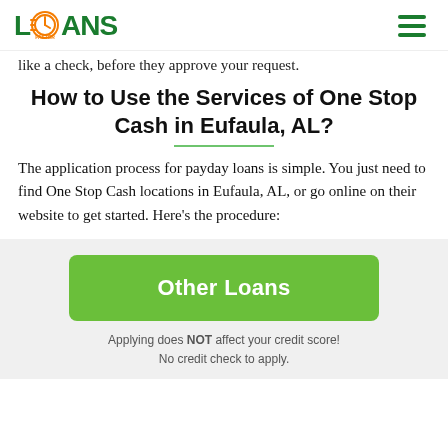LOANS FASTER
like a check, before they approve your request.
How to Use the Services of One Stop Cash in Eufaula, AL?
The application process for payday loans is simple. You just need to find One Stop Cash locations in Eufaula, AL, or go online on their website to get started. Here's the procedure:
[Figure (other): Green button labeled 'Other Loans']
Applying does NOT affect your credit score! No credit check to apply.